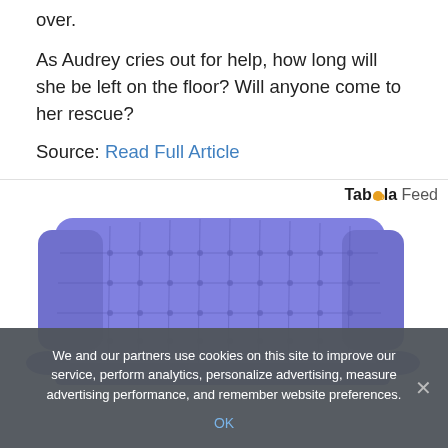over.
As Audrey cries out for help, how long will she be left on the floor? Will anyone come to her rescue?
Source: Read Full Article
Taboola Feed
[Figure (photo): A blue tufted wingback sofa/couch against a white background]
We and our partners use cookies on this site to improve our service, perform analytics, personalize advertising, measure advertising performance, and remember website preferences.
OK